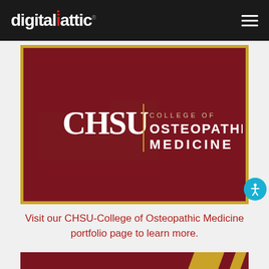digitalattic®
[Figure (logo): CHSU College of Osteopathic Medicine logo on dark red background with gold border]
Visit our CHSU-College of Osteopathic Medicine portfolio page to learn more.
[Figure (photo): Partial view of a dark red image with gold diagonal stripe, bottom portion of another CHSU-related image]